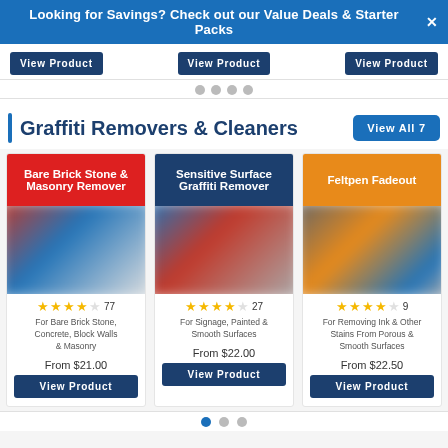Looking for Savings? Check out our Value Deals & Starter Packs ×
[Figure (screenshot): Three View Product buttons at the top of the page]
[Figure (screenshot): Pagination dots row]
Graffiti Removers & Cleaners
View All 7
[Figure (screenshot): Product card: Bare Brick Stone & Masonry Remover. Red header, blurred product image, 4.5 stars (77 reviews), For Bare Brick Stone, Concrete, Block Walls & Masonry, From $21.00, View Product button.]
[Figure (screenshot): Product card: Sensitive Surface Graffiti Remover. Dark blue header, blurred product image, 4.5 stars (27 reviews), For Signage, Painted & Smooth Surfaces, From $22.00, View Product button.]
[Figure (screenshot): Product card: Feltpen Fadeout. Orange header, blurred product image, 4.5 stars (9 reviews), For Removing Ink & Other Stains From Porous & Smooth Surfaces, From $22.50, View Product button.]
[Figure (screenshot): Pagination dots row at bottom]